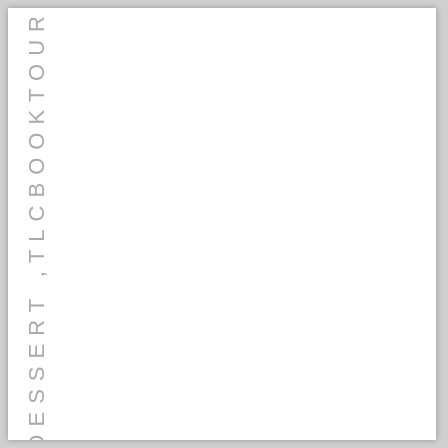PPLES ,CAKE ,DESSERT ,TLCBOOKTOUR